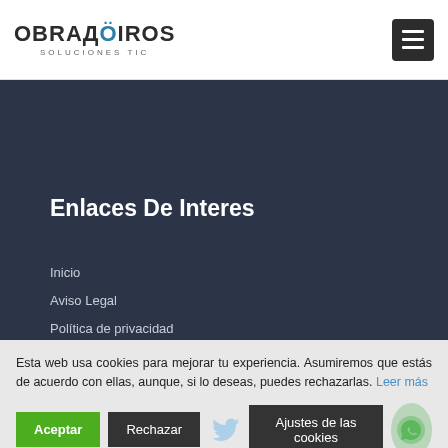[Figure (logo): Obradoiros Soluciones TIC logo with gear icon and hamburger menu button]
Enlaces De Interes
Inicio
Aviso Legal
Política de privacidad
Esta web usa cookies para mejorar tu experiencia. Asumiremos que estás de acuerdo con ellas, aunque, si lo deseas, puedes rechazarlas. Leer más
Aceptar | Rechazar | Ajustes de las cookies